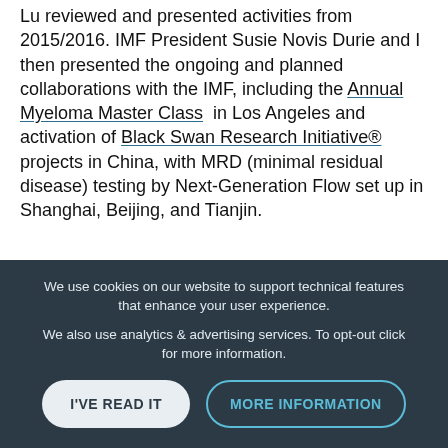Lu reviewed and presented activities from 2015/2016. IMF President Susie Novis Durie and I then presented the ongoing and planned collaborations with the IMF, including the Annual Myeloma Master Class in Los Angeles and activation of Black Swan Research Initiative® projects in China, with MRD (minimal residual disease) testing by Next-Generation Flow set up in Shanghai, Beijing, and Tianjin.
We use cookies on our website to support technical features that enhance your user experience.
We also use analytics & advertising services. To opt-out click for more information.